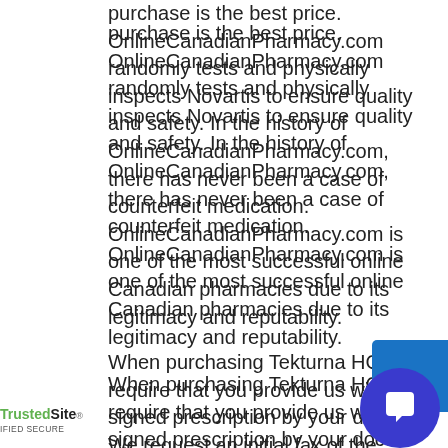purchase is the best price. OnlineCanadianPharmacy.com randomly tests and physically inspects Novartis to ensure quality and safety. In the history of OnlineCanadianPharmacy.com, there has never been a case of counterfeit medication. OnlineCanadianPharmacy.com is one of the most successful online Canadian pharmacies due to its legitimacy and reputability.
When purchasing Tekturna HCT we require that you provide us with a signed prescription by your doctor. We request an initial fax of the prescription and then original prescription for Tekturna HCT mailed to OnlineCanadianPharmacy.com. Order Tekturna HCT or any other product from our large selection of medication online 24 hours a day, 7 days a week. For your convenience there are four easy ways to order; order by fax, order online, order via email, or by calling in. The amazing staff at OnlineCanadianPharmacy.com is available to ans[wer] questions you may have when shopping online [to ma]ke sure you have everything you need without any
[Figure (logo): TrustedSite CERTIFIED SECURE badge at bottom left]
[Figure (other): Live chat widget with blue square background and dark blue circle with chat bubble icon, bottom right corner]